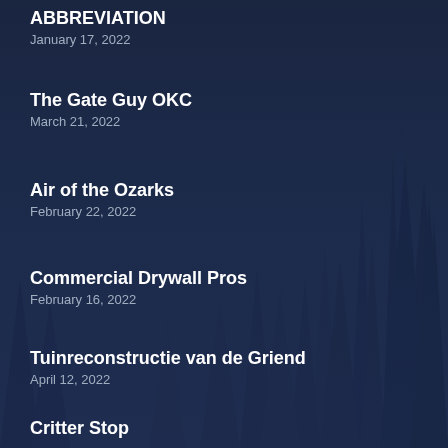ABBREVIATION
January 17, 2022
The Gate Guy OKC
March 21, 2022
Air of the Ozarks
February 22, 2022
Commercial Drywall Pros
February 16, 2022
Tuinreconstructie van de Griend
April 12, 2022
Critter Stop